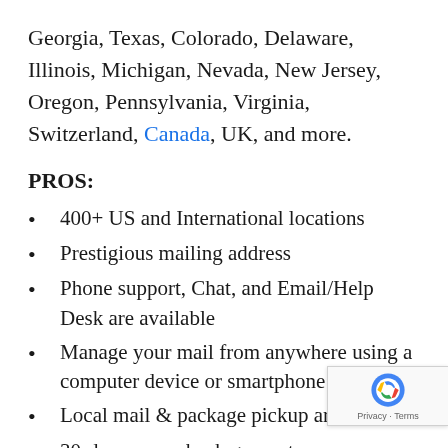Georgia, Texas, Colorado, Delaware, Illinois, Michigan, Nevada, New Jersey, Oregon, Pennsylvania, Virginia, Switzerland, Canada, UK, and more.
PROS:
400+ US and International locations
Prestigious mailing address
Phone support, Chat, and Email/Help Desk are available
Manage your mail from anywhere using a computer device or smartphone
Local mail & package pickup are avai[lable]
30-day money back guarantee